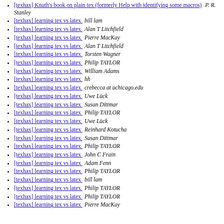[texhax] Knuth's book on plain tex (formerly Help with identifying some macros)  P. R. Stanley
[texhax] learning tex vs latex  bill lam
[texhax] learning tex vs latex  Alan T Litchfield
[texhax] learning tex vs latex  Pierre MacKay
[texhax] learning tex vs latex  Alan T Litchfield
[texhax] learning tex vs latex  Torsten Wagner
[texhax] learning tex vs latex  Philip TAYLOR
[texhax] learning tex vs latex  William Adams
[texhax] learning tex vs latex  hh
[texhax] learning tex vs latex  crebecca at uchicago.edu
[texhax] learning tex vs latex  Uwe Lück
[texhax] learning tex vs latex  Susan Dittmar
[texhax] learning tex vs latex  Philip TAYLOR
[texhax] learning tex vs latex  Uwe Lück
[texhax] learning tex vs latex  Reinhard Kotucha
[texhax] learning tex vs latex  Susan Dittmar
[texhax] learning tex vs latex  Philip TAYLOR
[texhax] learning tex vs latex  John C Frain
[texhax] learning tex vs latex  Adam Fenn
[texhax] learning tex vs latex  Philip TAYLOR
[texhax] learning tex vs latex  bill lam
[texhax] learning tex vs latex  Philip TAYLOR
[texhax] learning tex vs latex  Philip TAYLOR
[texhax] learning tex vs latex  Pierre MacKay